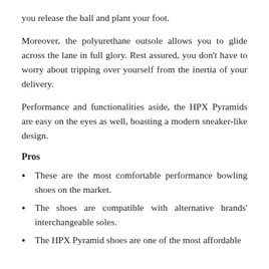you release the ball and plant your foot.
Moreover, the polyurethane outsole allows you to glide across the lane in full glory. Rest assured, you don't have to worry about tripping over yourself from the inertia of your delivery.
Performance and functionalities aside, the HPX Pyramids are easy on the eyes as well, boasting a modern sneaker-like design.
Pros
These are the most comfortable performance bowling shoes on the market.
The shoes are compatible with alternative brands' interchangeable soles.
The HPX Pyramid shoes are one of the most affordable